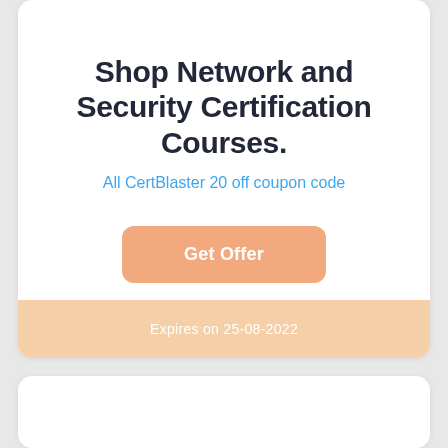Shop Network and Security Certification Courses.
All CertBlaster 20 off coupon code
Get Offer
Expires on 25-08-2022